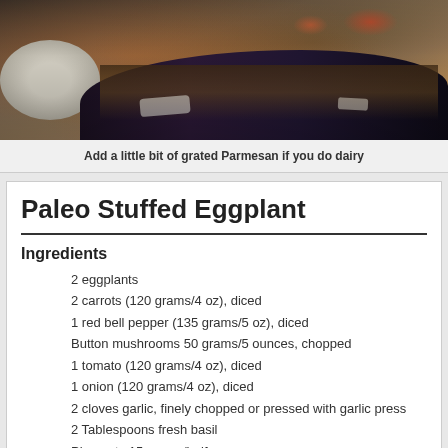[Figure (photo): Stuffed eggplant dish with ground beef filling, vegetables, and grated Parmesan, served on a plate]
Add a little bit of grated Parmesan if you do dairy
Paleo Stuffed Eggplant
Ingredients
2 eggplants
2 carrots (120 grams/4 oz), diced
1 red bell pepper (135 grams/5 oz), diced
Button mushrooms 50 grams/5 ounces, chopped
1 tomato (120 grams/4 oz), diced
1 onion (120 grams/4 oz), diced
2 cloves garlic, finely chopped or pressed with garlic press
2 Tablespoons fresh basil
Pine nuts 15 grams/half an ounce
300 grams/10 oz ground beef (raw weight)
1 Tablespoon oil of choice, plus more for brushing the eggplant. I us
1 teaspoon salt
1/2 teaspoon pepper